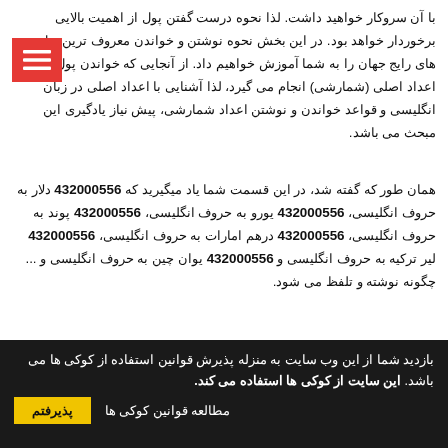با آن سروکار خواهید داشت. لذا نحوه درست گفتن پول از اهمیت بالایی برخوردار خواهد بود. در این بخش نحوه نوشتن و خواندن معروف ترین پول های رایج جهان را به شما آموزش خواهیم داد. از آنجایی که خواندن پول، همانند اعداد اصلی (شمارشی) انجام می گیرد، لذا آشنایی با اعداد اصلی در زبان انگلیسی و قواعد خواندن و نوشتن اعداد شمارشی، پیش نیاز یادگیری این مبحث می باشد.
همان طور که گفته شد، در این قسمت شما یاد میگیرید که 432000556 دلار به حروف انگلیسی، 432000556 یورو به حروف انگلیسی، 432000556 پوند به حروف انگلیسی، 432000556 درهم امارات به حروف انگلیسی، 432000556 لیر ترکیه به حروف انگلیسی و 432000556 یوان چین به حروف انگلیسی و ... چگونه نوشته و تلفظ می شود.
- دلار (dollar): دلار با تلفظ فارسی "دالر" واحد پول رایج
بازدید شما از این وب سایت به منزله پذیرش قوانین استفاده از کوکی ها می باشد. این سایت از کوکی ها استفاده می کند.